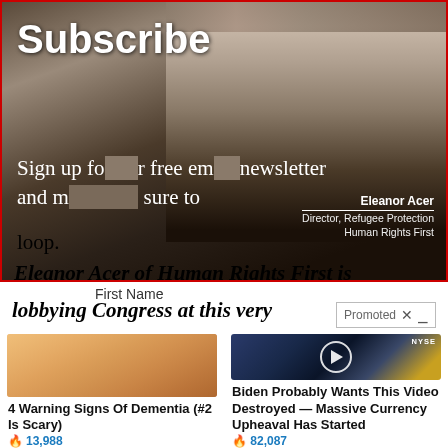[Figure (screenshot): Screenshot of a webpage with a Subscribe section showing a woman (Eleanor Acer, Director, Refugee Protection, Human Rights First) with overlaid text asking users to sign up for a free email newsletter]
Subscribe
Sign up for our free email newsletter and make sure to stay in the loop.
Eleanor Acer
Director, Refugee Protection
Human Rights First
Eleanor Acer of Human Rights First is lobbying Congress at this very
First Name
Promoted
[Figure (photo): Close-up photo of fingernails, yellowish tips]
4 Warning Signs Of Dementia (#2 Is Scary)
🔥 13,988
[Figure (screenshot): Video thumbnail showing a man in a suit at a NYSE trading floor setting with a play button overlay]
Biden Probably Wants This Video Destroyed — Massive Currency Upheaval Has Started
🔥 82,087